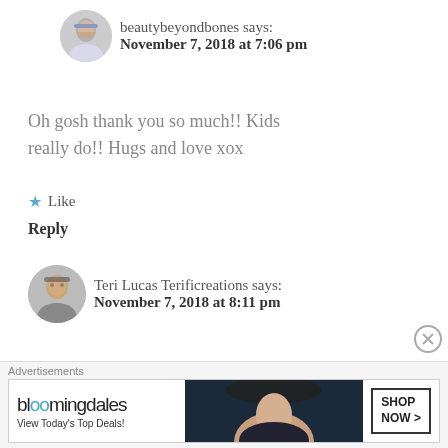beautybeyondbones says: November 7, 2018 at 7:06 pm
Oh gosh thank you so much!! Kids really do!! Hugs and love xox
★ Like
Reply
Teri Lucas Terificreations says: November 7, 2018 at 8:11 pm
What an incredibly beautiful gift.
★ Like
Advertisements
[Figure (screenshot): Bloomingdale's advertisement banner with logo, 'View Today's Top Deals!' text, woman with hat image, and 'SHOP NOW >' button]